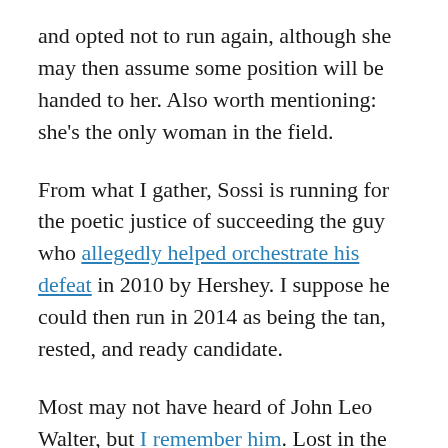and opted not to run again, although she may then assume some position will be handed to her. Also worth mentioning: she's the only woman in the field.
From what I gather, Sossi is running for the poetic justice of succeeding the guy who allegedly helped orchestrate his defeat in 2010 by Hershey. I suppose he could then run in 2014 as being the tan, rested, and ready candidate.
Most may not have heard of John Leo Walter, but I remember him. Lost in the bloodbath that was the 2008 First District Congressional primary was Walter's principled, conservative campaign. Maybe this is his time, although he